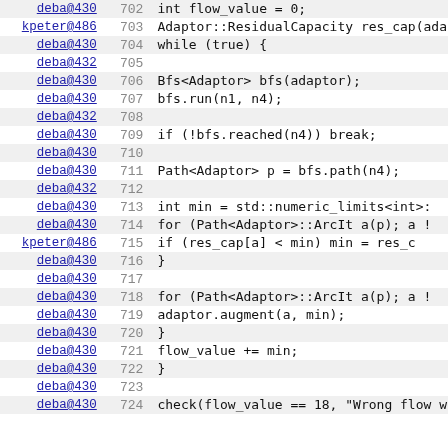[Figure (screenshot): Source code viewer showing lines 702-724 of C++ code with author annotations (deba@430, kpeter@486) and line numbers. Code implements a flow augmentation algorithm using BFS on a graph adaptor.]